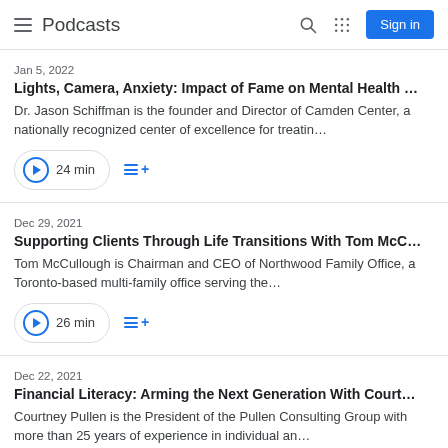Podcasts  Sign in
Jan 5, 2022
Lights, Camera, Anxiety: Impact of Fame on Mental Health …
Dr. Jason Schiffman is the founder and Director of Camden Center, a nationally recognized center of excellence for treatin…
24 min
Dec 29, 2021
Supporting Clients Through Life Transitions With Tom McC…
Tom McCullough is Chairman and CEO of Northwood Family Office, a Toronto-based multi-family office serving the…
26 min
Dec 22, 2021
Financial Literacy: Arming the Next Generation With Court…
Courtney Pullen is the President of the Pullen Consulting Group with more than 25 years of experience in individual an…